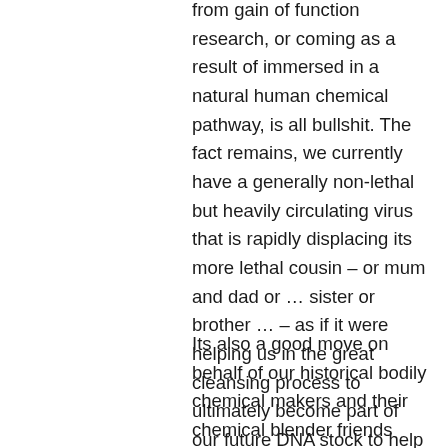from gain of function research, or coming as a result of immersed in a natural human chemical pathway, is all bullshit. The fact remains, we currently have a generally non-lethal but heavily circulating virus that is rapidly displacing its more lethal cousin – or mum and dad or … sister or brother … – as if it were helping us in the great cleansing process to ultimately become part of our future DNA stock to help protect us later. That's a good move for the virus. It gets to survive on in us for maybe thousands of years, while giving most people an annual sniffle and or sore throat.
Its also a good move on behalf of our historical bodily chemical makers and their chemical blender friends (accomplices in life) to accept a